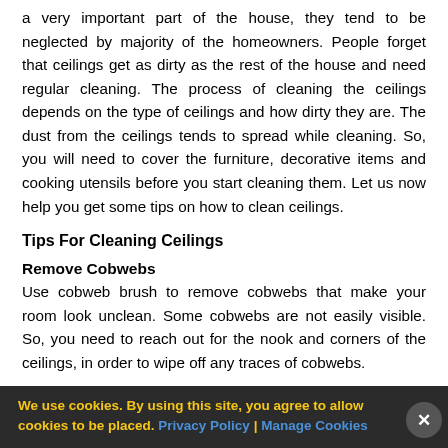a very important part of the house, they tend to be neglected by majority of the homeowners. People forget that ceilings get as dirty as the rest of the house and need regular cleaning. The process of cleaning the ceilings depends on the type of ceilings and how dirty they are. The dust from the ceilings tends to spread while cleaning. So, you will need to cover the furniture, decorative items and cooking utensils before you start cleaning them. Let us now help you get some tips on how to clean ceilings.
Tips For Cleaning Ceilings
Remove Cobwebs
Use cobweb brush to remove cobwebs that make your room look unclean. Some cobwebs are not easily visible. So, you need to reach out for the nook and corners of the ceilings, in order to wipe off any traces of cobwebs.
We use cookies. By using this site, you agree to allow cookies to be placed. Privacy Policy | Manage Cookies